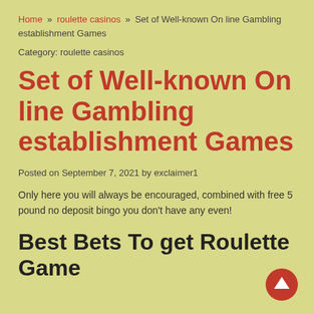Home » roulette casinos » Set of Well-known On line Gambling establishment Games
Category: roulette casinos
Set of Well-known On line Gambling establishment Games
Posted on September 7, 2021 by exclaimer1
Only here you will always be encouraged, combined with free 5 pound no deposit bingo you don't have any even!
Best Bets To get Roulette Game